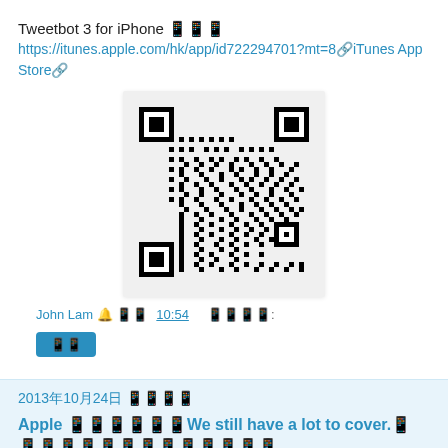Tweetbot 3 for iPhone 📱📱📱
https://itunes.apple.com/hk/app/id722294701?mt=8🔗iTunes App Store🔗
[Figure (other): QR code linking to Tweetbot 3 for iPhone on iTunes App Store]
John Lam 🔔 📱📱10:54    📱📱📱📱:
📱📱
2013年10月24日 📱📱📱📱
Apple 📱📱📱📱📱📱We still have a lot to cover.📱📱📱📱📱📱📱📱📱📱📱📱📱📱